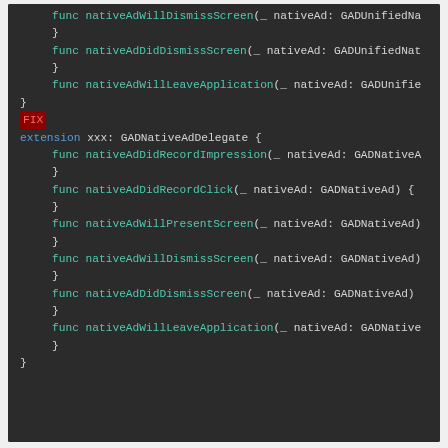[Figure (screenshot): Swift source code on dark background showing GADUnifiedNativeAdDelegate and GADNativeAdDelegate extension implementations with func nativeAdWillDismissScreen, nativeAdDidDismissScreen, nativeAdWillLeaveApplication, nativeAdDidRecordImpression, nativeAdDidRecordClick, nativeAdWillPresentScreen, nativeAdWillDismissScreen, nativeAdDidDismissScreen, nativeAdWillLeaveApplication methods]